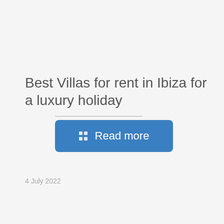Best Villas for rent in Ibiza for a luxury holiday
[Figure (other): Blue 'Read more' button with a grid icon on the left]
4 July 2022